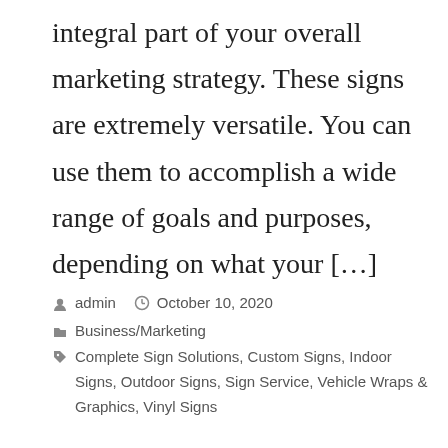integral part of your overall marketing strategy. These signs are extremely versatile. You can use them to accomplish a wide range of goals and purposes, depending on what your […]
admin   October 10, 2020
Business/Marketing
Complete Sign Solutions, Custom Signs, Indoor Signs, Outdoor Signs, Sign Service, Vehicle Wraps & Graphics, Vinyl Signs